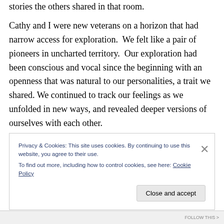stories the others shared in that room.
Cathy and I were new veterans on a horizon that had narrow access for exploration.  We felt like a pair of pioneers in uncharted territory.  Our exploration had been conscious and vocal since the beginning with an openness that was natural to our personalities, a trait we shared. We continued to track our feelings as we unfolded in new ways, and revealed deeper versions of ourselves with each other.
Privacy & Cookies: This site uses cookies. By continuing to use this website, you agree to their use.
To find out more, including how to control cookies, see here: Cookie Policy